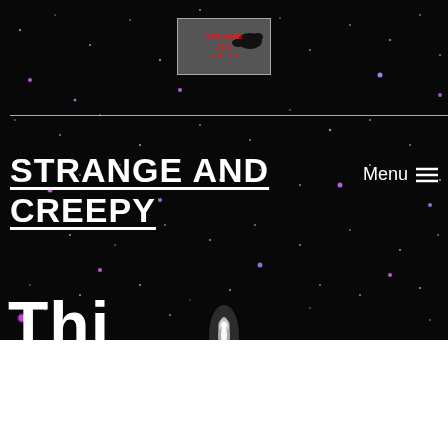[Figure (screenshot): Website header screenshot showing the Strange and Creepy website with a starfield background, logo banner, site title, and menu button]
STRANGE AND CREEPY
Menu ≡
Thi